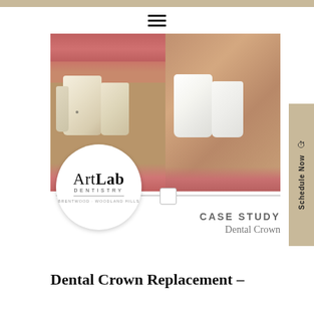[Figure (photo): Before and after side-by-side dental crown replacement photos showing teeth close-up. Left side shows teeth before with imperfections/damage, right side shows teeth after with a clean white dental crown.]
[Figure (logo): ArtLab Dentistry logo in a white circle. Text reads: ArtLab DENTISTRY BRENTWOOD - WOODLAND HILLS]
CASE STUDY
Dental Crown
Dental Crown Replacement –